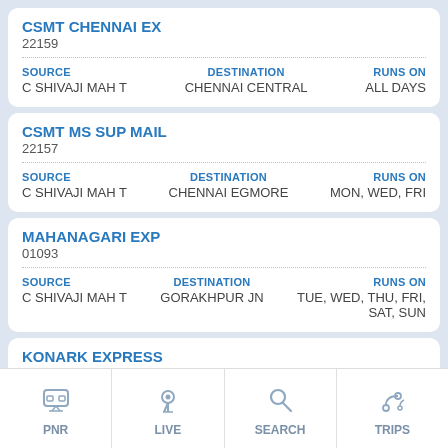CSMT CHENNAI EX
22159
| SOURCE | DESTINATION | RUNS ON |
| --- | --- | --- |
| C SHIVAJI MAH T | CHENNAI CENTRAL | ALL DAYS |
CSMT MS SUP MAIL
22157
| SOURCE | DESTINATION | RUNS ON |
| --- | --- | --- |
| C SHIVAJI MAH T | CHENNAI EGMORE | MON, WED, FRI |
MAHANAGARI EXP
01093
| SOURCE | DESTINATION | RUNS ON |
| --- | --- | --- |
| C SHIVAJI MAH T | GORAKHPUR JN | TUE, WED, THU, FRI, SAT, SUN |
KONARK EXPRESS
01019
| SOURCE | DESTINATION | RUNS ON |
| --- | --- | --- |
| C SHIVAJI MAH T | BHUBANESWAR | ALL DAYS |
PNR   LIVE   SEARCH   TRIPS